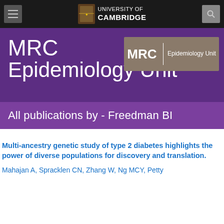[Figure (logo): University of Cambridge top navigation bar with hamburger menu, Cambridge crest and UNIVERSITY OF CAMBRIDGE text, and search icon on dark background]
MRC Epidemiology Unit
[Figure (logo): MRC Epidemiology Unit logo in tan/brown box]
All publications by - Freedman BI
Multi-ancestry genetic study of type 2 diabetes highlights the power of diverse populations for discovery and translation.
Mahajan A, Spracklen CN, Zhang W, Ng MCY, Petty